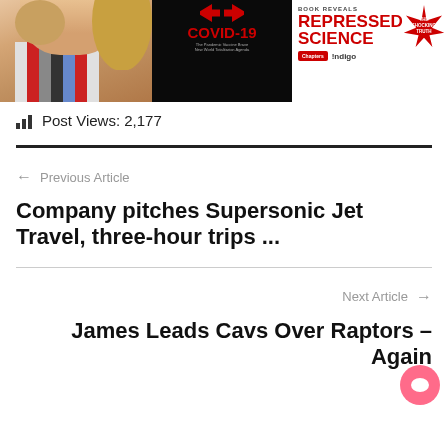[Figure (photo): Website screenshot showing a banner advertisement with a woman, a COVID-19 book cover, and 'Repressed Science' text with Chapters/Indigo branding and 'The Shocking Truth' badge]
Post Views: 2,177
← Previous Article
Company pitches Supersonic Jet Travel, three-hour trips ...
Next Article →
James Leads Cavs Over Raptors – Again